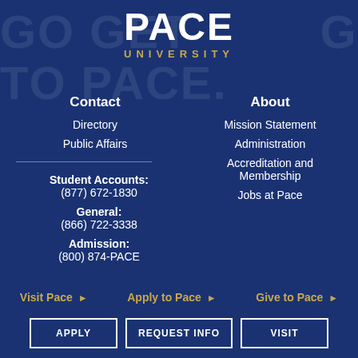[Figure (logo): Pace University logo — PACE in large bold white letters with UNIVERSITY in gold spaced lettering below]
Contact
Directory
Public Affairs
Student Accounts: (877) 672-1830
General: (866) 722-3338
Admission: (800) 874-PACE
About
Mission Statement
Administration
Accreditation and Membership
Jobs at Pace
Visit Pace ▶
Apply to Pace ▶
Give to Pace ▶
APPLY
REQUEST INFO
VISIT